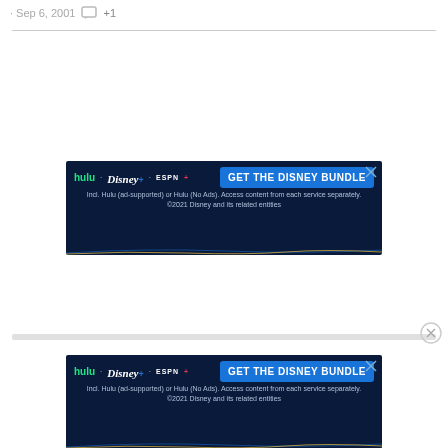· Sep 6, 2001  [comment icon] +1
[Figure (screenshot): Disney Bundle advertisement banner: dark navy background with Hulu, Disney+, ESPN+ logos on left, blue 'GET THE DISNEY BUNDLE' button on right, subtext about Hulu plans and ©2021 Disney, with close X button in top-right corner]
[Figure (screenshot): Disney Bundle advertisement banner (second instance): identical to first banner - dark navy background with Hulu, Disney+, ESPN+ logos, blue 'GET THE DISNEY BUNDLE' CTA button, same subtext about Hulu plans and ©2021 Disney]